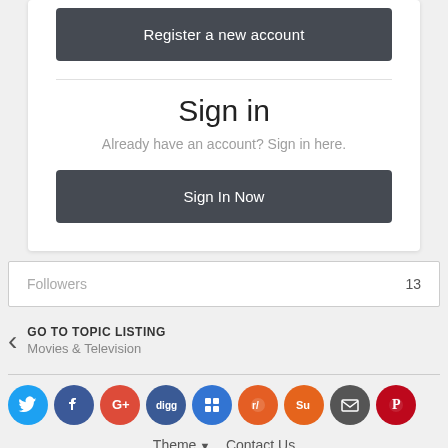Register a new account
Sign in
Already have an account? Sign in here.
Sign In Now
Followers  13
GO TO TOPIC LISTING
Movies & Television
[Figure (infographic): Social sharing icons row: Twitter, Facebook, Google+, Digg, Delicious, Reddit, StumbleUpon, Email, Pinterest]
Theme  Contact Us